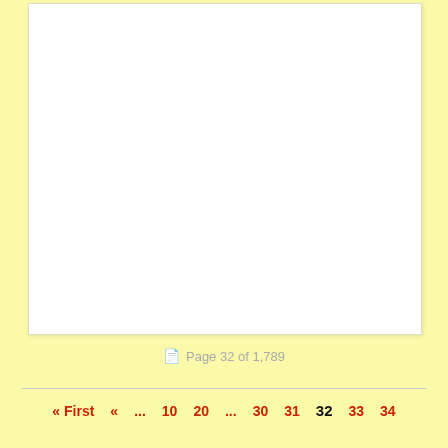[Figure (other): Blank white document page preview area]
Page 32 of 1,789
« First  «  ...  10  20  ...  30  31  32  33  34